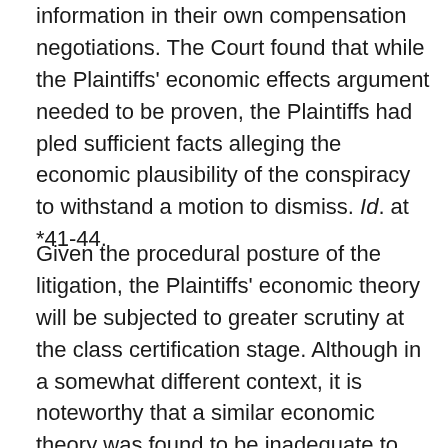information in their own compensation negotiations. The Court found that while the Plaintiffs' economic effects argument needed to be proven, the Plaintiffs had pled sufficient facts alleging the economic plausibility of the conspiracy to withstand a motion to dismiss. Id. at *41-44.
Given the procedural posture of the litigation, the Plaintiffs' economic theory will be subjected to greater scrutiny at the class certification stage. Although in a somewhat different context, it is noteworthy that a similar economic theory was found to be inadequate to demonstrate class-wide injury in an antitrust wage suppression case involving registered nurses. The Court in Fleischman v. Albany Medical Center, 2008 U.S. Dist LEXIS 57188, at *16-17 (N.D. N.Y. July 28,